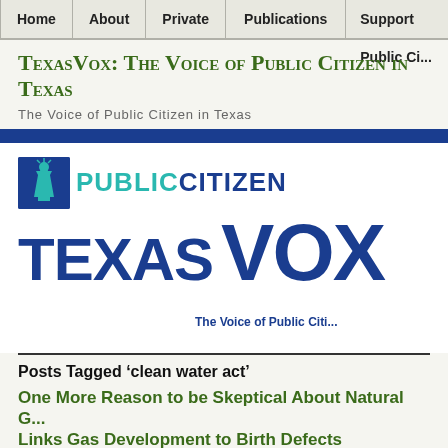Home | About | Private | Publications | Support Public Ci...
TexasVox: The Voice of Public Citizen in Texas
The Voice of Public Citizen in Texas
[Figure (logo): Public Citizen and Texas Vox logo with Statue of Liberty icon, 'PUBLIC CITIZEN' text and large 'TEXAS VOX' text with tagline 'The Voice of Public Citi...']
Posts Tagged ‘clean water act’
One More Reason to be Skeptical About Natural G... Links Gas Development to Birth Defects
Posted in Air Quality, Fracking, Health, natural gas, Safety, Toxics, Water, tagged air po...